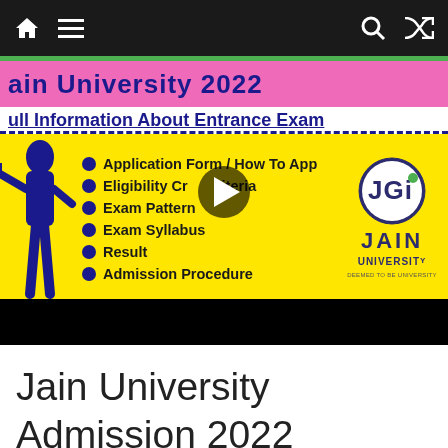Navigation bar with home, menu, search, and shuffle icons
[Figure (screenshot): Jain University 2022 entrance exam information video thumbnail showing yellow background with bullet list: Application Form / How To Apply, Eligibility Criteria, Exam Pattern, Exam Syllabus, Result, Admission Procedure. JGI Jain University logo on right. Blue silhouette figure on left. Pink header bar with 'Jain University 2022' text. Blue dashed border. Play button overlay.]
Jain University Admission 2022 Dates